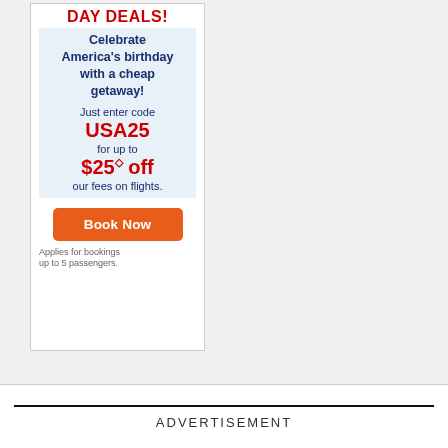[Figure (illustration): Advertisement banner for Independence Day travel deals. Red heading 'DAY DEALS!' at top. Blue text on light blue background: 'Celebrate America's birthday with a cheap getaway! Just enter code'. Red bold code 'USA25'. Blue text 'for up to'. Red bold '$25◇ off'. Blue text 'our fees on flights.' Orange 'Book Now' button. Small grey text: 'Applies for bookings up to 5 passengers.']
ADVERTISEMENT